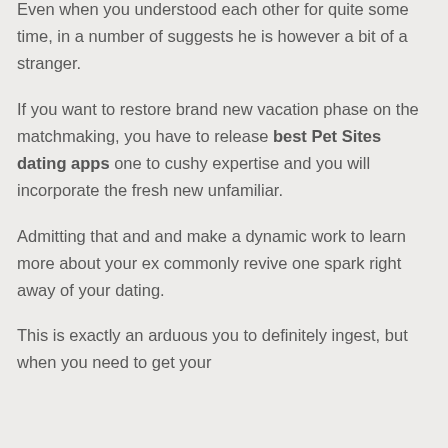Even when you understood each other for quite some time, in a number of suggests he is however a bit of a stranger.
If you want to restore brand new vacation phase on the matchmaking, you have to release best Pet Sites dating apps one to cushy expertise and you will incorporate the fresh new unfamiliar.
Admitting that and and make a dynamic work to learn more about your ex commonly revive one spark right away of your dating.
This is exactly an arduous you to definitely ingest, but when you need to get your